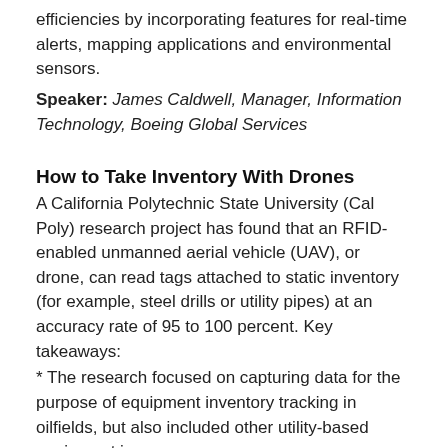efficiencies by incorporating features for real-time alerts, mapping applications and environmental sensors.
Speaker: James Caldwell, Manager, Information Technology, Boeing Global Services
How to Take Inventory With Drones
A California Polytechnic State University (Cal Poly) research project has found that an RFID-enabled unmanned aerial vehicle (UAV), or drone, can read tags attached to static inventory (for example, steel drills or utility pipes) at an accuracy rate of 95 to 100 percent. Key takeaways:
* The research focused on capturing data for the purpose of equipment inventory tracking in oilfields, but also included other utility-based equipment in